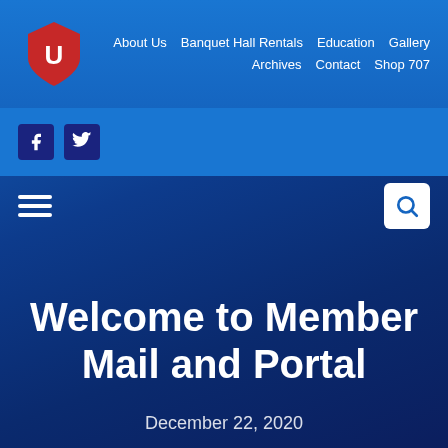[Figure (logo): Unifor Local 707 logo — red shield with white U, text UNIFOR, Local 707 in red below]
About Us  Banquet Hall Rentals  Education  Gallery  Archives  Contact  Shop 707
[Figure (screenshot): Facebook and Twitter social media icon buttons in dark navy squares]
[Figure (screenshot): Hamburger menu icon (three white lines) on the left and search (magnifying glass) button on the right]
Welcome to Member Mail and Portal
December 22, 2020